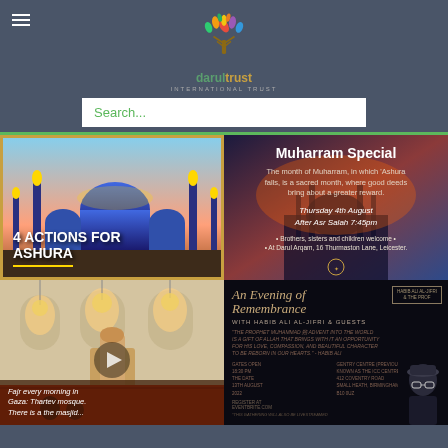darul trust - logo and site header
Search...
[Figure (photo): Mosque exterior at dusk with illuminated minarets, text overlay: 4 ACTIONS FOR ASHURA]
[Figure (infographic): Muharram Special event flyer with mosque silhouette background. Text: Muharram Special. The month of Muharram, in which Ashura falls, is a sacred month, where good deeds bring about a greater reward. Thursday 4th August After Asr Salah 7:45pm. Brothers, sisters and children welcome. At Darul Arqam, 16 Thurmaston Lane, Leicester. www.datrust.org]
[Figure (photo): Mosque interior with ornate architecture, chandeliers, red carpet. Text overlay: Fajr every morning in Gaza: Thartev mosque. There is a the masjid...]
[Figure (infographic): An Evening of Remembrance event poster. With Habib Ali Al-Jifri & Guests. Event details including Gentry Centre (previously known as the ICC Centre), 412 Coventry Road, Small Heath, Birmingham, B10 0UZ. Register at eventbrite.com. This gathering will also be livestreamed.]